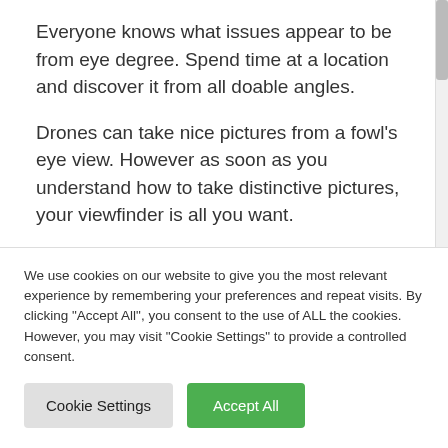Everyone knows what issues appear to be from eye degree. Spend time at a location and discover it from all doable angles.
Drones can take nice pictures from a fowl’s eye view. However as soon as you understand how to take distinctive pictures, your viewfinder is all you want.
Snap: That’s a Wrap-Up
We use cookies on our website to give you the most relevant experience by remembering your preferences and repeat visits. By clicking “Accept All”, you consent to the use of ALL the cookies. However, you may visit "Cookie Settings" to provide a controlled consent.